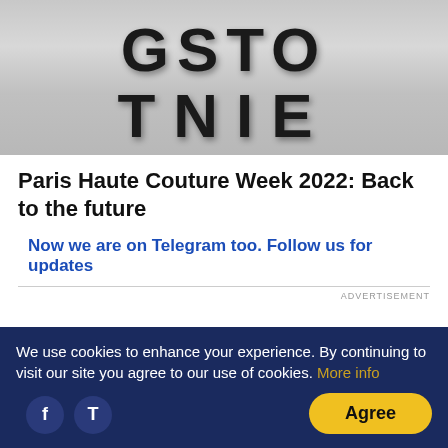[Figure (logo): TNIE logo on metallic gray background]
Paris Haute Couture Week 2022: Back to the future
Now we are on Telegram too. Follow us for updates
ADVERTISEMENT
India Matters
We use cookies to enhance your experience. By continuing to visit our site you agree to our use of cookies. More info